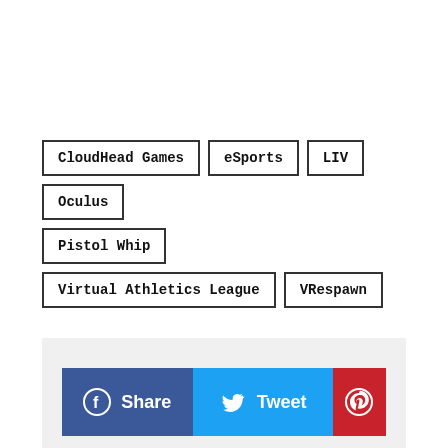CloudHead Games
eSports
LIV
Oculus
Pistol Whip
Virtual Athletics League
VRespawn
[Figure (other): Social share buttons: Facebook Share, Twitter Tweet, Pinterest]
Related Posts
[Figure (photo): Dark photo showing video game or esports scene with text overlay]